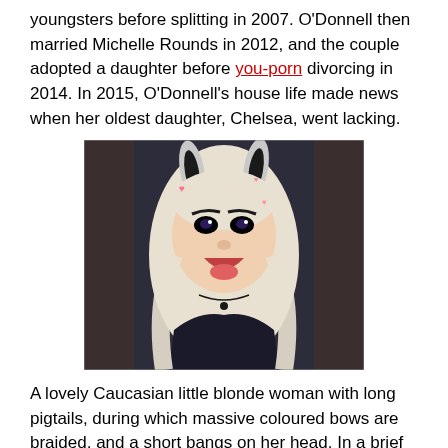youngsters before splitting in 2007. O'Donnell then married Michelle Rounds in 2012, and the couple adopted a daughter before you-porn divorcing in 2014. In 2015, O'Donnell's house life made news when her oldest daughter, Chelsea, went lacking.
[Figure (photo): Young blonde woman with bunny ears headband, long platinum hair, wearing dark top, making a playful face with tongue out, selfie-style photo with pink heart/light bokeh effects.]
A lovely Caucasian little blonde woman with long pigtails, during which massive coloured bows are braided, and a short bangs on her head. In a brief summer time gown, a pattern of multi-colored circles. Big glass with water, straw and frangipani keep on the pool edge. Cute little enjoyable lady with long hair in bed woke up within